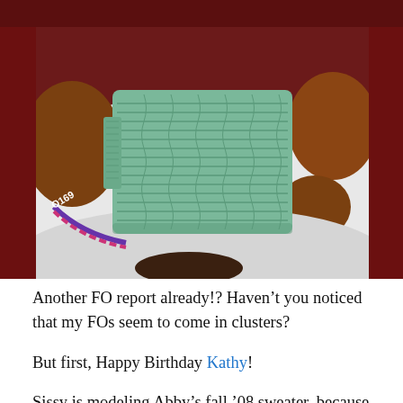[Figure (photo): A green crocheted dog sweater laid flat on a white and brown dog, with a purple and pink collar visible on the left side. The background includes dark red fabric.]
Another FO report already!?  Haven't you noticed that my FOs seem to come in clusters?
But first, Happy Birthday Kathy!
Sissy is modeling Abby's fall '08 sweater, because you